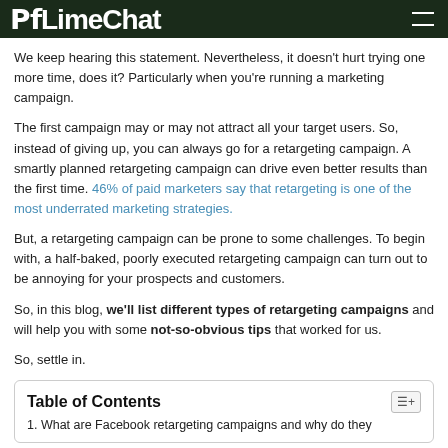LimeChat
We keep hearing this statement. Nevertheless, it doesn't hurt trying one more time, does it? Particularly when you're running a marketing campaign.
The first campaign may or may not attract all your target users. So, instead of giving up, you can always go for a retargeting campaign. A smartly planned retargeting campaign can drive even better results than the first time. 46% of paid marketers say that retargeting is one of the most underrated marketing strategies.
But, a retargeting campaign can be prone to some challenges. To begin with, a half-baked, poorly executed retargeting campaign can turn out to be annoying for your prospects and customers.
So, in this blog, we'll list different types of retargeting campaigns and will help you with some not-so-obvious tips that worked for us.
So, settle in.
| Table of Contents |
| --- |
| 1. What are Facebook retargeting campaigns and why do they |